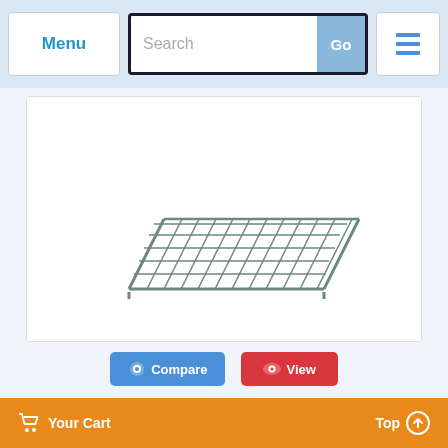Menu | Search | Go | [list icon]
[Figure (photo): A rectangular wire shelf/rack grid for a refrigerator or freezer, shown in a 3D perspective angle. The shelf has horizontal wire rods with two vertical support rods on each side, made of chrome/stainless steel wire.]
Compare  View
Item #: 65058K
In Stock
Shelf Kit For AUC48R/AUC48F Refrigerator And Freezer
by Arctic Air
21" x 16.75"
Retail: $98.00
Your Cart   Top